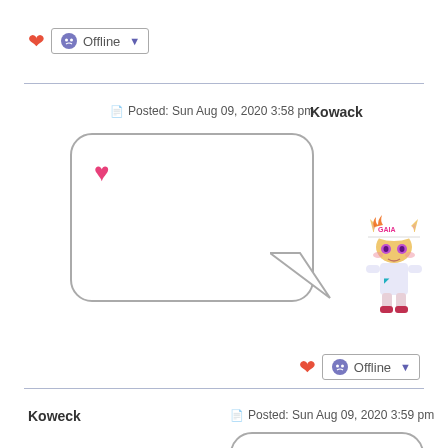❤ Offline [dropdown]
Posted: Sun Aug 09, 2020 3:58 pm
Kowack
[Figure (illustration): Speech bubble with a pink heart emoji inside, with a tail pointing right toward a pixel-art avatar character wearing a GAIA cap]
[Figure (illustration): Pixel art avatar character of a cat-girl wearing a white GAIA branded cap with orange flames, white outfit, purple eyes]
❤ Offline [dropdown]
Koweck
Posted: Sun Aug 09, 2020 3:59 pm